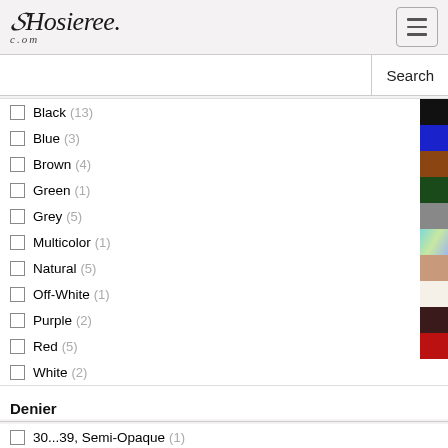Hosieree.com
Black (13)
Blue (3)
Brown (4)
Green (1)
Grey (5)
Multicolor (1)
Natural (5)
Off-White (1)
Purple (2)
Red (5)
White (2)
Denier
30...39, Semi-Opaque (1)
40...69, Opaque (16)
70+, Thick Opaque (3)
Feature